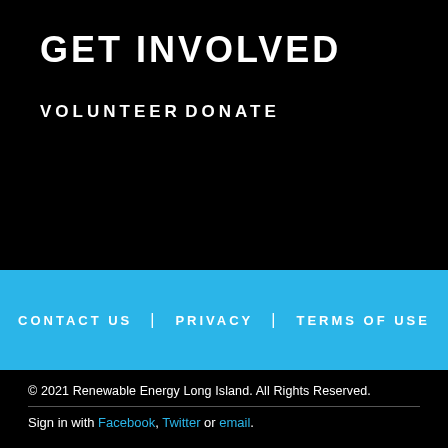GET INVOLVED
VOLUNTEER
DONATE
CONTACT US | PRIVACY | TERMS OF USE
© 2021 Renewable Energy Long Island. All Rights Reserved.
Sign in with Facebook, Twitter or email.